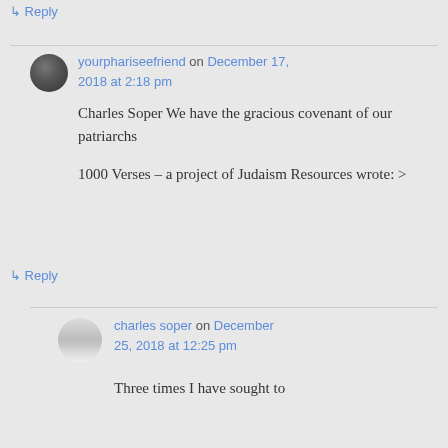↳ Reply
yourphariseefriend on December 17, 2018 at 2:18 pm
Charles Soper We have the gracious covenant of our patriarchs

1000 Verses – a project of Judaism Resources wrote: >
↳ Reply
charles soper on December 25, 2018 at 12:25 pm
Three times I have sought to